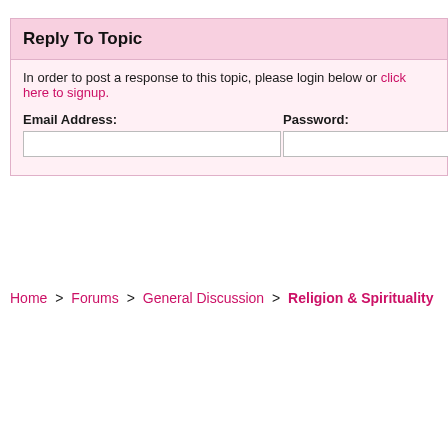Reply To Topic
In order to post a response to this topic, please login below or click here to signup.
Email Address:
Password:
Home > Forums > General Discussion > Religion & Spirituality